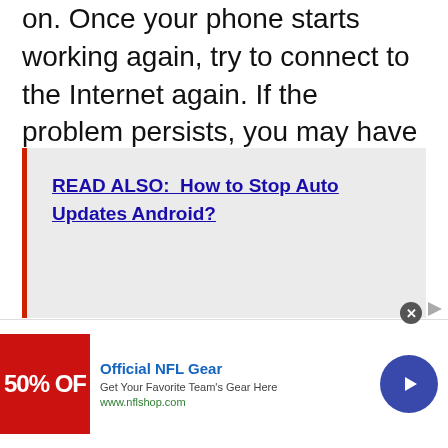on. Once your phone starts working again, try to connect to the Internet again. If the problem persists, you may have to contact your service provider.
READ ALSO:  How to Stop Auto Updates Android?
[Figure (other): Advertisement banner for Official NFL Gear showing a red promotional image with '50% OFF' text, ad title 'Official NFL Gear', description 'Get Your Favorite Team's Gear Here', URL 'www.nflshop.com', a blue circular arrow button, and a close button.]